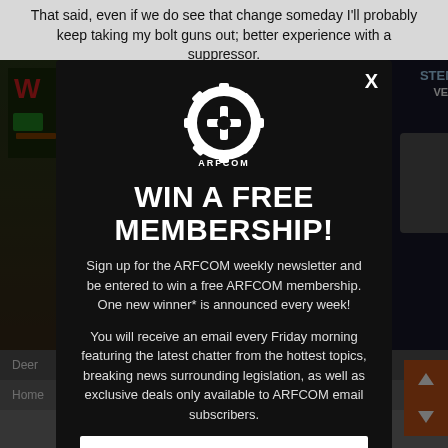That said, even if we do see that change someday I'll probably keep taking my bolt guns out; better experience with a suppressor.
[Figure (screenshot): Background web page with three image panels showing various content, navigation bars, and orange scroll buttons]
[Figure (infographic): ARFCOM modal popup with gear logo, 'WIN A FREE MEMBERSHIP!' headline, newsletter signup description, and email input field]